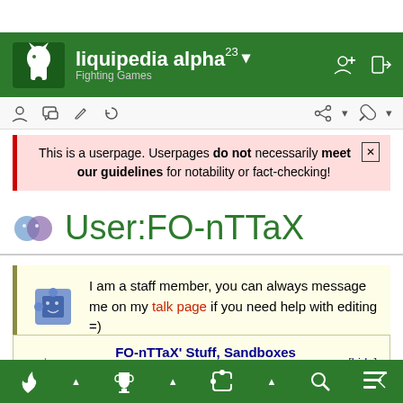liquipedia alpha^23 Fighting Games
This is a userpage. Userpages do not necessarily meet our guidelines for notability or fact-checking!
User:FO-nTTaX
I am a staff member, you can always message me on my talk page if you need help with editing =)
FO-nTTaX' Stuff, Sandboxes and Templates
bottom navigation bar